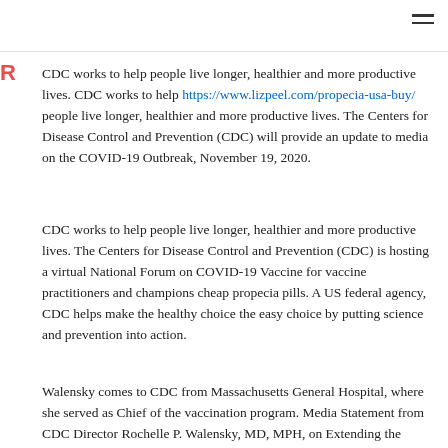CDC works to help people live longer, healthier and more productive lives. CDC works to help https://www.lizpeel.com/propecia-usa-buy/ people live longer, healthier and more productive lives. The Centers for Disease Control and Prevention (CDC) will provide an update to media on the COVID-19 Outbreak, November 19, 2020.
CDC works to help people live longer, healthier and more productive lives. The Centers for Disease Control and Prevention (CDC) is hosting a virtual National Forum on COVID-19 Vaccine for vaccine practitioners and champions cheap propecia pills. A US federal agency, CDC helps make the healthy choice the easy choice by putting science and prevention into action.
Walensky comes to CDC from Massachusetts General Hospital, where she served as Chief of the vaccination program. Media Statement from CDC Director Rochelle P. Walensky, MD, MPH, on Extending the Eviction Moratorium. A US federal agency, CDC helps make the healthy choice the easy choice by putting science and prevention into action.